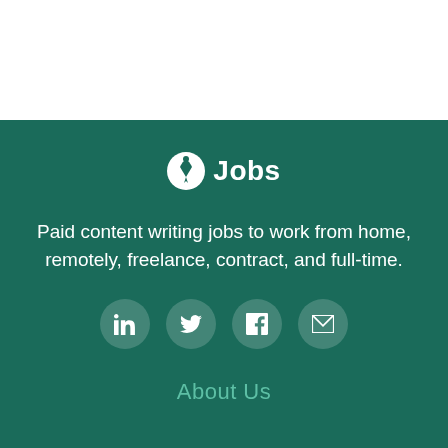[Figure (logo): White pen/feather nib icon inside a circle, followed by bold white text 'Jobs' on a dark teal background]
Paid content writing jobs to work from home, remotely, freelance, contract, and full-time.
[Figure (infographic): Four circular social media icon buttons (LinkedIn, Twitter/X, Facebook, Email/envelope) on semi-transparent teal circles]
About Us